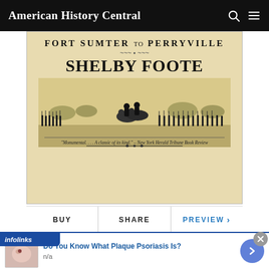American History Central
[Figure (illustration): Book cover of 'The Civil War: A Narrative — Fort Sumter to Perryville' by Shelby Foote, showing the title text in large serif font over a battle scene illustration, with a quote: "Monumental.... A classic of its kind." – New York Herald Tribune Book Review]
BUY | SHARE | PREVIEW
infolinks
Do You Know What Plaque Psoriasis Is?
n/a